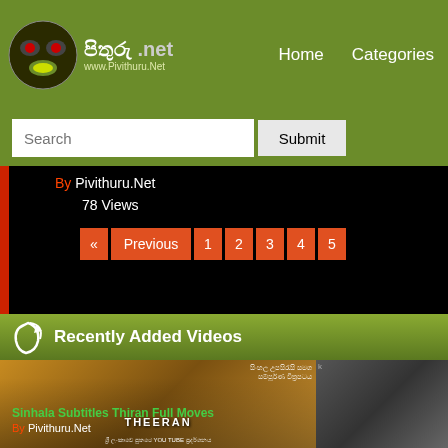පිතුරු .net | www.Pivithuru.Net | Home | Categories
[Figure (screenshot): Search bar with text input field and Submit button on olive green background]
By Pivithuru.Net
78 Views
« Previous 1 2 3 4 5
Recently Added Videos
[Figure (screenshot): Thumbnail of Theeran movie with Sinhala subtitle text overlay]
Sinhala Subtitles Thiran Full Moves
By Pivithuru.Net